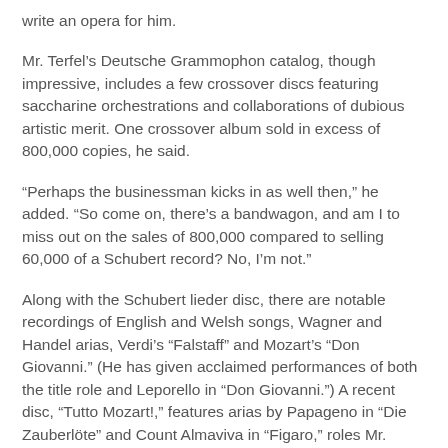write an opera for him.
Mr. Terfel's Deutsche Grammophon catalog, though impressive, includes a few crossover discs featuring saccharine orchestrations and collaborations of dubious artistic merit. One crossover album sold in excess of 800,000 copies, he said.
“Perhaps the businessman kicks in as well then,” he added. “So come on, there’s a bandwagon, and am I to miss out on the sales of 800,000 compared to selling 60,000 of a Schubert record? No, I’m not.”
Along with the Schubert lieder disc, there are notable recordings of English and Welsh songs, Wagner and Handel arias, Verdi’s “Falstaff” and Mozart’s “Don Giovanni.” (He has given acclaimed performances of both the title role and Leporello in “Don Giovanni.”) A recent disc, “Tutto Mozart!,” features arias by Papageno in “Die Zauberlöte” and Count Almaviva in “Figaro,” roles Mr. Terfel has never sung onstage, but might.